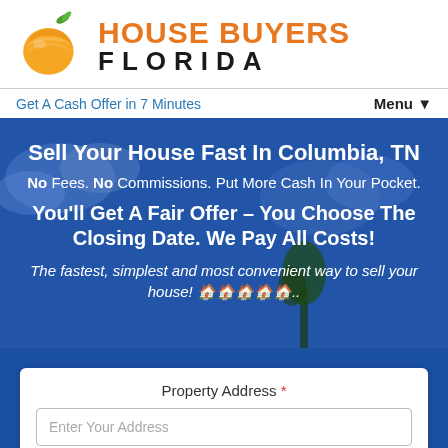[Figure (logo): House Buyers Florida logo with orange peach/circle graphic and green leaf, company name in orange and black]
Get A Cash Offer in 7 Minutes
Menu ▼
Sell Your House Fast In Columbia, TN
No Fees. No Commissions. Put More Cash In Your Pocket.
You'll Get A Fair Offer – You Choose The Closing Date. We Pay All Costs!
The fastest, simplest and most convenient way to sell your house! 🏠🏠🏠🏠🏠..
Property Address *
Enter Your Address